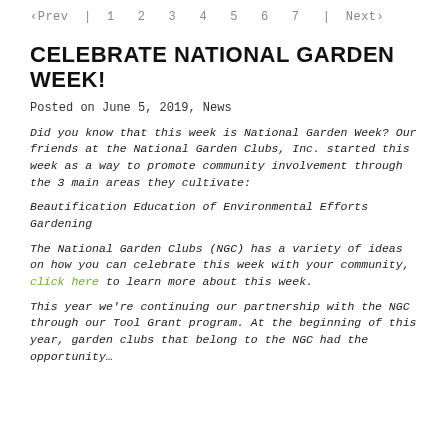‹Prev | 1  2  3  4  5  6  7  | Next›
CELEBRATE NATIONAL GARDEN WEEK!
Posted on June 5, 2019, News
Did you know that this week is National Garden Week? Our friends at the National Garden Clubs, Inc. started this week as a way to promote community involvement through the 3 main areas they cultivate:
Beautification Education of Environmental Efforts Gardening
The National Garden Clubs (NGC) has a variety of ideas on how you can celebrate this week with your community, click here to learn more about this week.
This year we're continuing our partnership with the NGC through our Tool Grant program. At the beginning of this year, garden clubs that belong to the NGC had the opportunity…